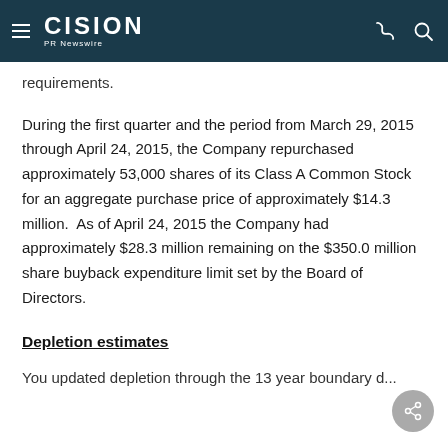CISION PR Newswire
requirements.
During the first quarter and the period from March 29, 2015 through April 24, 2015, the Company repurchased approximately 53,000 shares of its Class A Common Stock for an aggregate purchase price of approximately $14.3 million.  As of April 24, 2015 the Company had approximately $28.3 million remaining on the $350.0 million share buyback expenditure limit set by the Board of Directors.
Depletion estimates
You updated depletion through the 13 year boundary d...